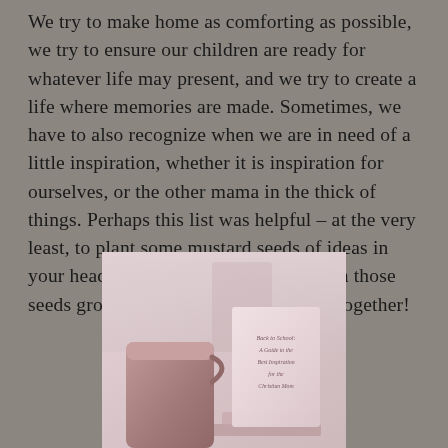We try to make home as comforting as possible, we try to ensure our children are ready for whatever life may present, and we try to create a life where memories are made. Sometimes, we have to also recognize when we are in need of a little inspiration, whether it is inspiration for ourselves, or the other mama in the thick of things. Perhaps this list was helpful – at the very least, to plant some mustard seeds of ideas in your head and heart, and you will watch those seeds grow as we start the school year together!
[Figure (photo): A soft-focus pink-toned photo showing a mug/cup on the left and a card/booklet on the right that reads 'Back to School: A Guide to the Best Inspiration for the Christian Mom'. Items sit on a surface with a blurred background.]